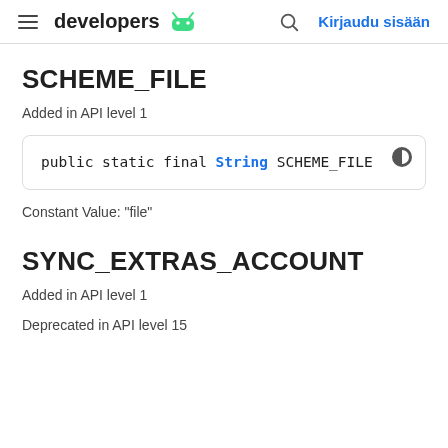developers | Kirjaudu sisään
SCHEME_FILE
Added in API level 1
public static final String SCHEME_FILE
Constant Value: "file"
SYNC_EXTRAS_ACCOUNT
Added in API level 1
Deprecated in API level 15